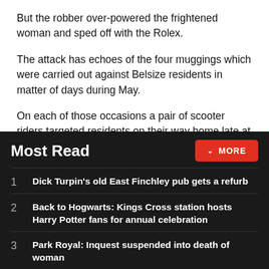But the robber over-powered the frightened woman and sped off with the Rolex.
The attack has echoes of the four muggings which were carried out against Belsize residents in matter of days during May.
On each of those occasions a pair of scooter riders targeted residents on their way home late at night. The attacks were often violent and left the victims both bruised and shaken.
Most Read
1  Dick Turpin's old East Finchley pub gets a refurb
2  Back to Hogwarts: Kings Cross station hosts Harry Potter fans for annual celebration
3  Park Royal: Inquest suspended into death of woman